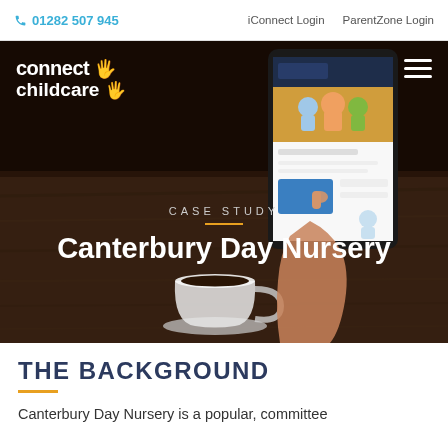📞 01282 507 945   iConnect Login   ParentZone Login
[Figure (screenshot): Hero banner with dark background showing a hand holding a tablet displaying the Connect Childcare website, a coffee cup on a wooden table, connect childcare logo top left, hamburger menu top right, overlaid text reading CASE STUDY and Canterbury Day Nursery]
THE BACKGROUND
Canterbury Day Nursery is a popular, committee